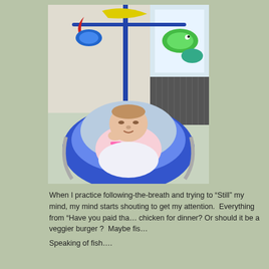[Figure (photo): A baby lying in a blue bouncy seat or rocker, looking upward with hand near mouth. Above the baby is a colorful toy mobile with fish and other animal figures. The background shows a room with a window and a radiator.]
When I practice following-the-breath and trying to “Still” my mind, my mind starts shouting to get my attention.  Everything from “Have you paid tha… chicken for dinner? Or should it be a veggier burger ?  Maybe fis…
Speaking of fish….